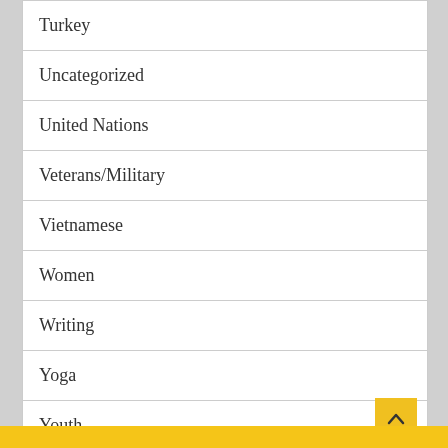Turkey
Uncategorized
United Nations
Veterans/Military
Vietnamese
Women
Writing
Yoga
Youth